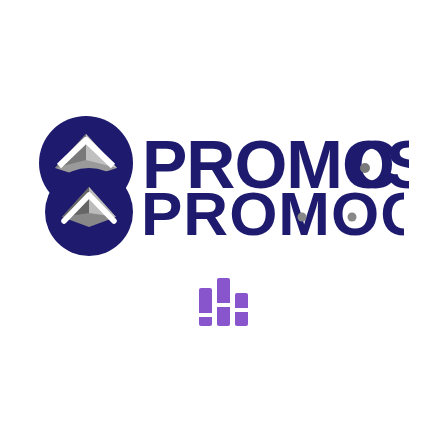[Figure (logo): PROMOCASA logo: a dark navy/indigo circle with a white chevron/house-roof shape and grey facets inside, followed by bold dark navy/indigo text reading PROMOCASA with stylized letters where C and A contain small grey-and-white globe/dot accents.]
[Figure (logo): Small purple bar chart icon with three vertical bars of varying heights, resembling a simple analytics or chart symbol.]